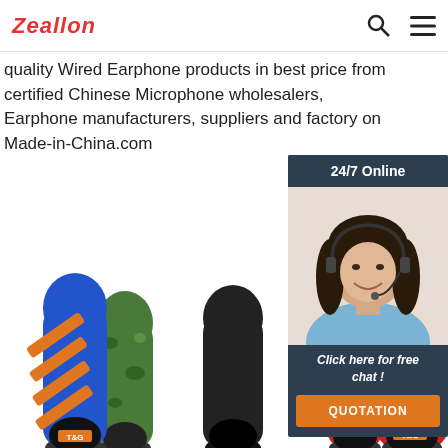Zeallon
quality Wired Earphone products in best price from certified Chinese Microphone wholesalers, Earphone manufacturers, suppliers and factory on Made-in-China.com
Get Price
[Figure (photo): 24/7 Online chat widget with a woman wearing a headset, dark background panel with 'Click here for free chat!' and an orange QUOTATION button]
[Figure (photo): Product images showing colorful cylindrical Bluetooth speakers - three groups: blue/orange striped and green camo pair, single black speaker, red/blue pattern and red pair]